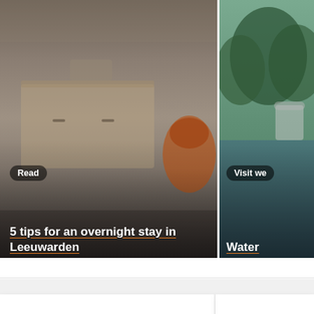[Figure (photo): Hotel room interior with furniture, beige/grey tones, partially visible orange chair on right side]
Read
5 tips for an overnight stay in Leeuwarden
[Figure (photo): Outdoor waterside scene with green foliage and water, partially cropped on right]
Visit we
Water
Discover the best hotels for an unforgettable stay in Leeuwarden.
Read more
Enjoy a exclu
Check a
Events in Friesland